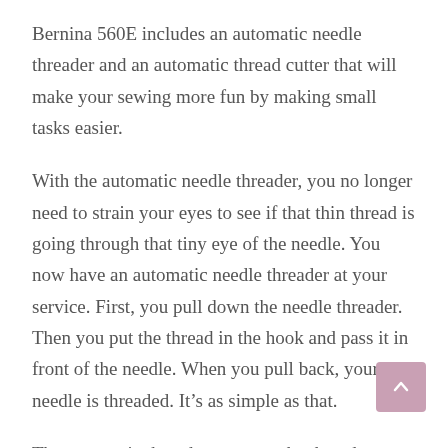Bernina 560E includes an automatic needle threader and an automatic thread cutter that will make your sewing more fun by making small tasks easier.
With the automatic needle threader, you no longer need to strain your eyes to see if that thin thread is going through that tiny eye of the needle. You now have an automatic needle threader at your service. First, you pull down the needle threader. Then you put the thread in the hook and pass it in front of the needle. When you pull back, your needle is threaded. It’s as simple as that.
The automatic thread cutter cuts the thread